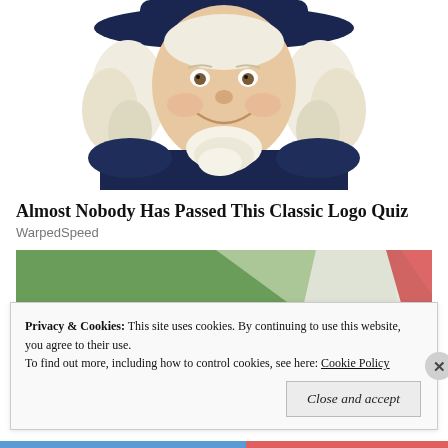[Figure (illustration): Quaker Oats mascot illustration: a smiling man with white curly hair and a wide-brimmed hat, wearing a dark navy colonial-style coat with a white ruffled collar, cropped at the torso, white background.]
Almost Nobody Has Passed This Classic Logo Quiz
WarpedSpeed
[Figure (photo): Partial image showing diagonal colored stripes — green, white, and red/pink — on a light background, cropped view.]
Privacy & Cookies:  This site uses cookies. By continuing to use this website, you agree to their use.
To find out more, including how to control cookies, see here: Cookie Policy
Close and accept